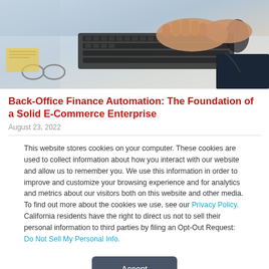[Figure (photo): Person typing on a laptop keyboard at a desk with glasses and office items visible]
Back-Office Finance Automation: The Foundation of a Solid E-Commerce Enterprise
August 23, 2022
This website stores cookies on your computer. These cookies are used to collect information about how you interact with our website and allow us to remember you. We use this information in order to improve and customize your browsing experience and for analytics and metrics about our visitors both on this website and other media. To find out more about the cookies we use, see our Privacy Policy. California residents have the right to direct us not to sell their personal information to third parties by filing an Opt-Out Request: Do Not Sell My Personal Info.
Accept